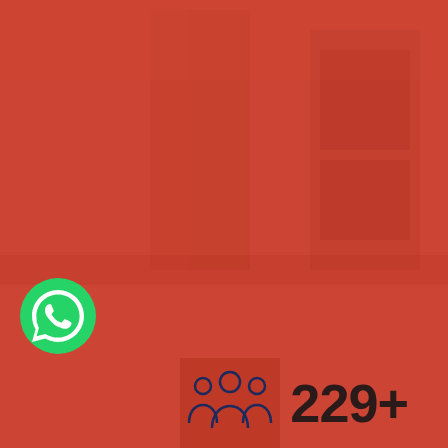[Figure (infographic): Red/terracotta background with subtle architectural/building silhouettes visible in the upper portion. A WhatsApp icon (green circle with white phone handset) is in the lower left. An icon of three people (group/team icon) in dark navy is in the lower center. The number '229+' in large dark bold text appears at the lower right.]